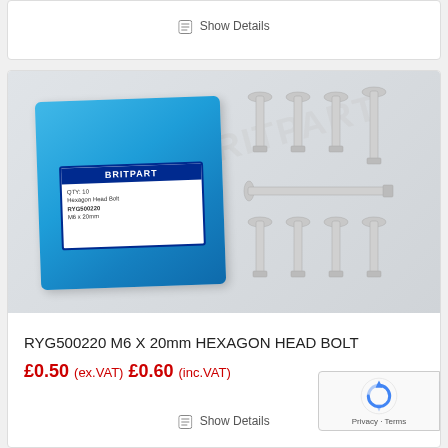Show Details
[Figure (photo): Britpart branded blue plastic bag with label, alongside multiple M6 hexagon head bolts (zinc-plated) arranged on a white background.]
RYG500220 M6 X 20mm HEXAGON HEAD BOLT
£0.50 (ex.VAT) £0.60 (inc.VAT)
Show Details